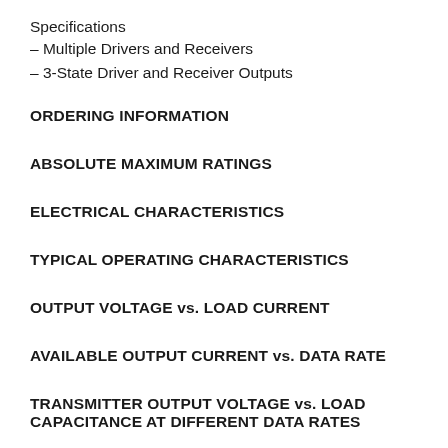Specifications
– Multiple Drivers and Receivers
– 3-State Driver and Receiver Outputs
ORDERING INFORMATION
ABSOLUTE MAXIMUM RATINGS
ELECTRICAL CHARACTERISTICS
TYPICAL OPERATING CHARACTERISTICS
OUTPUT VOLTAGE vs. LOAD CURRENT
AVAILABLE OUTPUT CURRENT vs. DATA RATE
TRANSMITTER OUTPUT VOLTAGE vs. LOAD CAPACITANCE AT DIFFERENT DATA RATES